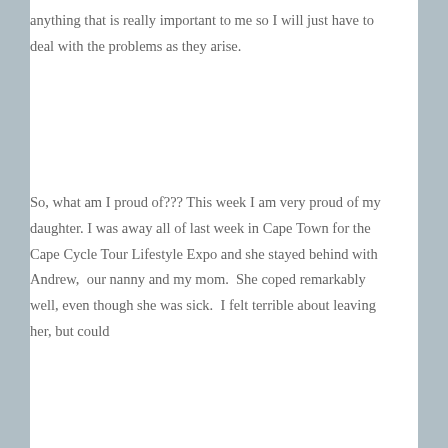anything that is really important to me so I will just have to deal with the problems as they arise.
So, what am I proud of??? This week I am very proud of my daughter. I was away all of last week in Cape Town for the Cape Cycle Tour Lifestyle Expo and she stayed behind with Andrew, our nanny and my mom. She coped remarkably well, even though she was sick. I felt terrible about leaving her, but could
Privacy & Cookies: This site uses cookies. By continuing to use this website, you agree to their use.
To find out more, including how to control cookies, see here: Cookie Policy
Close and accept